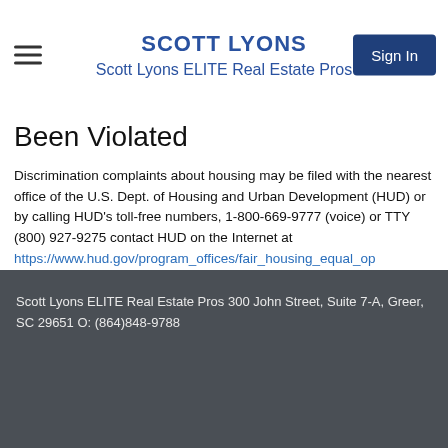SCOTT LYONS
Scott Lyons ELITE Real Estate Pros
Been Violated
Discrimination complaints about housing may be filed with the nearest office of the U.S. Dept. of Housing and Urban Development (HUD) or by calling HUD's toll-free numbers, 1-800-669-9777 (voice) or TTY (800) 927-9275 contact HUD on the Internet at https://www.hud.gov/program_offices/fair_housing_equal_op complaint
Scott Lyons ELITE Real Estate Pros 300 John Street, Suite 7-A, Greer, SC 29651 O: (864)848-9788